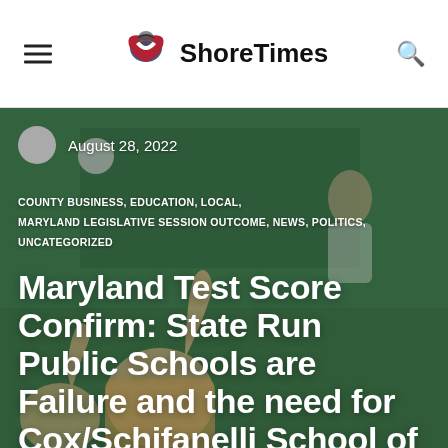ShoreTimes
August 28, 2022
COUNTY BUSINESS, EDUCATION, LOCAL, MARYLAND LEGISLATIVE SESSION OUTCOME, NEWS, POLITICS, UNCATEGORIZED
Maryland Test Score Confirm: State Run Public Schools are Failure and the need for Cox/Schifanelli School of